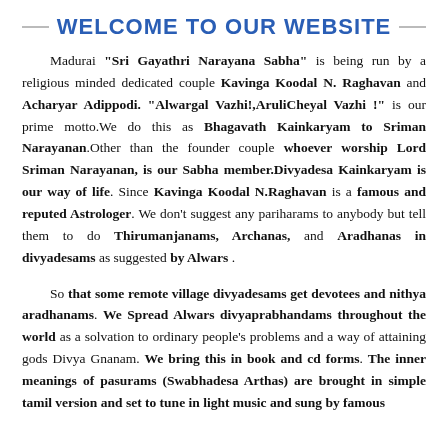WELCOME TO OUR WEBSITE
Madurai "Sri Gayathri Narayana Sabha" is being run by a religious minded dedicated couple Kavinga Koodal N. Raghavan and Acharyar Adippodi. "Alwargal Vazhi!,AruliCheyal Vazhi !" is our prime motto.We do this as Bhagavath Kainkaryam to Sriman Narayanan.Other than the founder couple whoever worship Lord Sriman Narayanan, is our Sabha member.Divyadesa Kainkaryam is our way of life. Since Kavinga Koodal N.Raghavan is a famous and reputed Astrologer. We don't suggest any pariharams to anybody but tell them to do Thirumanjanams, Archanas, and Aradhanas in divyadesams as suggested by Alwars .
So that some remote village divyadesams get devotees and nithya aradhanams. We Spread Alwars divyaprabhandams throughout the world as a solvation to ordinary people's problems and a way of attaining gods Divya Gnanam. We bring this in book and cd forms. The inner meanings of pasurams (Swabhadesa Arthas) are brought in simple tamil version and set to tune in light music and sung by famous